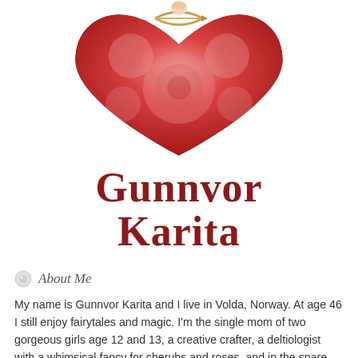[Figure (illustration): A heart-shaped arrangement of pink and red roses with a cherub/cupid figure at the top holding a bow, romantic Valentine-style illustration]
Gunnvor Karita
About Me
My name is Gunnvor Karita and I live in Volda, Norway. At age 46 I still enjoy fairytales and magic. I'm the single mom of two gorgeous girls age 12 and 13, a creative crafter, a deltiologist with a whimsical fancy for cherubs and roses, and in the spare time I try to fit a job at the University College. It is safe to say